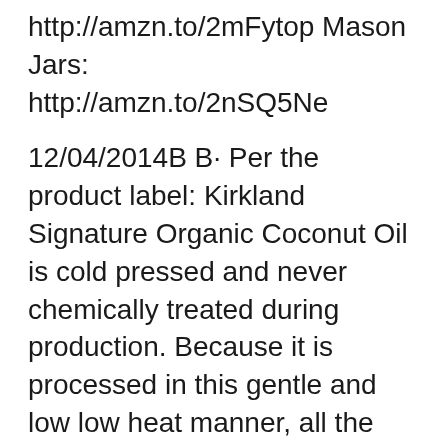http://amzn.to/2mFytop Mason Jars: http://amzn.to/2nSQ5Ne
12/04/2014B B· Per the product label: Kirkland Signature Organic Coconut Oil is cold pressed and never chemically treated during production. Because it is processed in this gentle and low low heat manner, all the natural flavor, aroma and health benefits are retained. 21/07/2014B B· Everland Coconut Oil Refined, Clear Glass Jar, 500ml: Amazon.ca: Grocery Skip to main content. Try Prime Hello Nutiva Organic, Steam Refined Coconut Oil from Non-GMO, Sustainably Farmed Coconuts, 1.6 Liters 4.6 out of 5 stars 43. CDN$ 21.99. Indigo Organic Refined Coconut Oil, 500